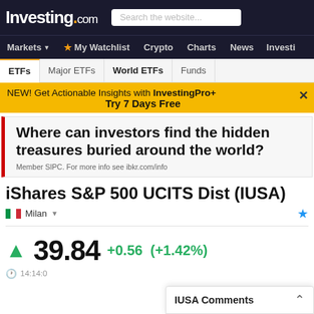Investing.com | Search the website...
Markets | My Watchlist | Crypto | Charts | News | Investi
ETFs | Major ETFs | World ETFs | Funds
NEW! Get Actionable Insights with InvestingPro+
Try 7 Days Free
Where can investors find the hidden treasures buried around the world?
Member SIPC. For more info see ibkr.com/info
iShares S&P 500 UCITS Dist (IUSA)
Milan
39.84  +0.56  (+1.42%)
14:14:0
IUSA Comments